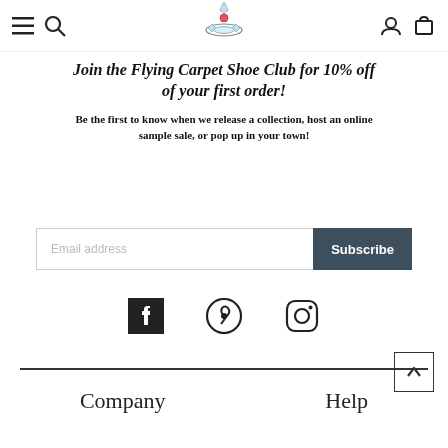Navigation bar with menu, search, logo, account, and cart icons
Join the Flying Carpet Shoe Club for 10% off of your first order!
Be the first to know when we release a collection, host an online sample sale, or pop up in your town!
[Figure (other): Email address input field with Subscribe button]
[Figure (other): Social media icons: Facebook, Pinterest, Instagram]
[Figure (other): Back to top arrow button]
Company   Help